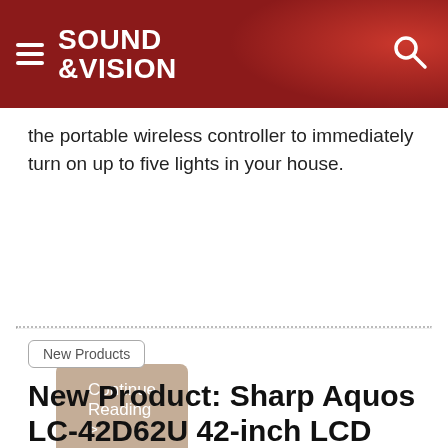SOUND &VISION
the portable wireless controller to immediately turn on up to five lights in your house.
Continue Reading >
New Products
New Product: Sharp Aquos LC-42D62U 42-inch LCD HDTV
Peter Pachal  |  Nov 07, 2006  |
[Figure (photo): Partial view of a flat-panel LCD TV (Sharp Aquos) showing the bottom portion of the screen with a dark bezel]